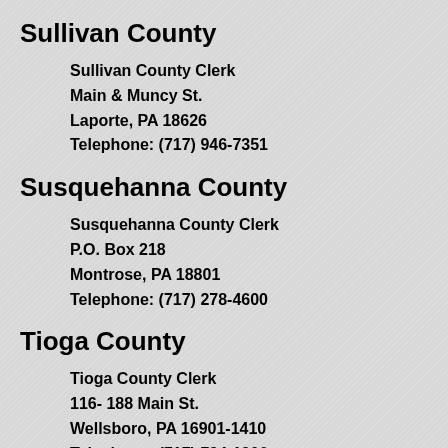Sullivan County
Sullivan County Clerk
Main & Muncy St.
Laporte, PA 18626
Telephone: (717) 946-7351
Susquehanna County
Susquehanna County Clerk
P.O. Box 218
Montrose, PA 18801
Telephone: (717) 278-4600
Tioga County
Tioga County Clerk
116- 188 Main St.
Wellsboro, PA 16901-1410
Telephone: (717) 724-1906